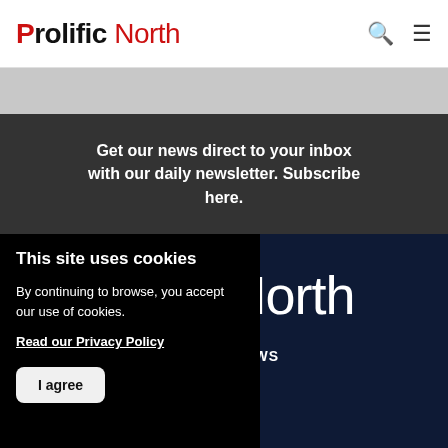Prolific North
Get our news direct to your inbox with our daily newsletter. Subscribe here.
[Figure (logo): Prolific North logo in white on dark navy background]
LATEST NEWS
JOBS
EVENTS
This site uses cookies
By continuing to browse, you accept our use of cookies.
Read our Privacy Policy
I agree